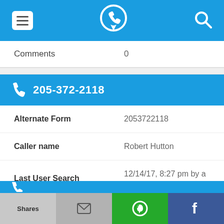App header with menu, phone-pin logo, and search icons
Comments    0
205-372-2118
Alternate Form    2053722118
Caller name    Robert Hutton
Last User Search    12/14/17, 8:27 pm by a ...
Comments    0
Shares  [email]  [WhatsApp]  [Facebook]